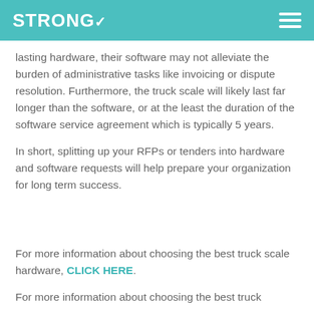STRONG
lasting hardware, their software may not alleviate the burden of administrative tasks like invoicing or dispute resolution. Furthermore, the truck scale will likely last far longer than the software, or at the least the duration of the software service agreement which is typically 5 years.
In short, splitting up your RFPs or tenders into hardware and software requests will help prepare your organization for long term success.
For more information about choosing the best truck scale hardware, CLICK HERE.
For more information about choosing the best truck